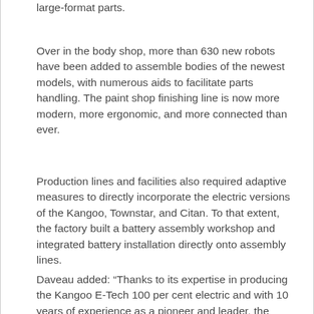large-format parts.
Over in the body shop, more than 630 new robots have been added to assemble bodies of the newest models, with numerous aids to facilitate parts handling. The paint shop finishing line is now more modern, more ergonomic, and more connected than ever.
Production lines and facilities also required adaptive measures to directly incorporate the electric versions of the Kangoo, Townstar, and Citan. To that extent, the factory built a battery assembly workshop and integrated battery installation directly onto assembly lines.
Daveau added: “Thanks to its expertise in producing the Kangoo E-Tech 100 per cent electric and with 10 years of experience as a pioneer and leader, the Maubeuge factory continues to be a key player in accelerating the LCV electric transition and...